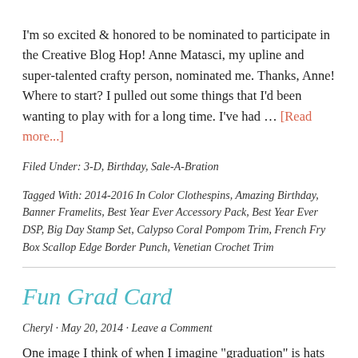I'm so excited & honored to be nominated to participate in the Creative Blog Hop! Anne Matasci, my upline and super-talented crafty person, nominated me. Thanks, Anne! Where to start? I pulled out some things that I'd been wanting to play with for a long time. I've had … [Read more...]
Filed Under: 3-D, Birthday, Sale-A-Bration
Tagged With: 2014-2016 In Color Clothespins, Amazing Birthday, Banner Framelits, Best Year Ever Accessory Pack, Best Year Ever DSP, Big Day Stamp Set, Calypso Coral Pompom Trim, French Fry Box Scallop Edge Border Punch, Venetian Crochet Trim
Fun Grad Card
Cheryl · May 20, 2014 · Leave a Comment
One image I think of when I imagine "graduation" is hats flying in the air. That was the idea behind this & when I say graduation...